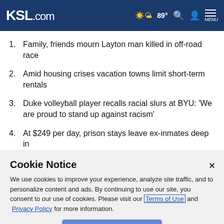KSL.com — 89° [weather icon] [search icon] [user icon] MENU
1. Family, friends mourn Layton man killed in off-road race
2. Amid housing crises vacation towns limit short-term rentals
3. Duke volleyball player recalls racial slurs at BYU: 'We are proud to stand up against racism'
4. At $249 per day, prison stays leave ex-inmates deep in
Cookie Notice
We use cookies to improve your experience, analyze site traffic, and to personalize content and ads. By continuing to use our site, you consent to our use of cookies. Please visit our Terms of Use and Privacy Policy for more information.
Continue